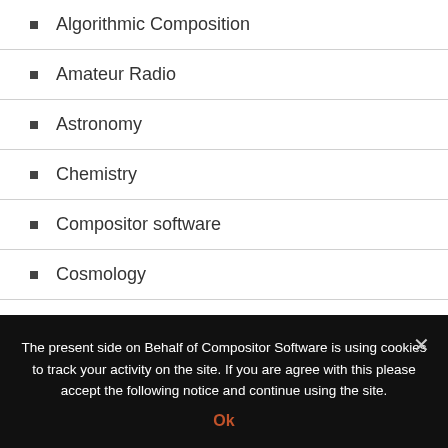Algorithmic Composition
Amateur Radio
Astronomy
Chemistry
Compositor software
Cosmology
Cryptography
Discounts
Musique Concrete
The present side on Behalf of Compositor Software is using cookies to track your activity on the site. If you are agree with this please accept the following notice and continue using the site.
Ok